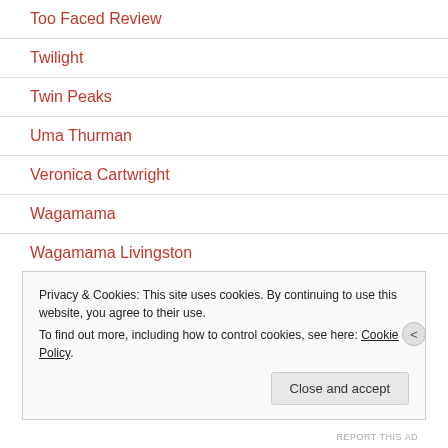Too Faced Review
Twilight
Twin Peaks
Uma Thurman
Veronica Cartwright
Wagamama
Wagamama Livingston
Privacy & Cookies: This site uses cookies. By continuing to use this website, you agree to their use.
To find out more, including how to control cookies, see here: Cookie Policy
REPORT THIS AD